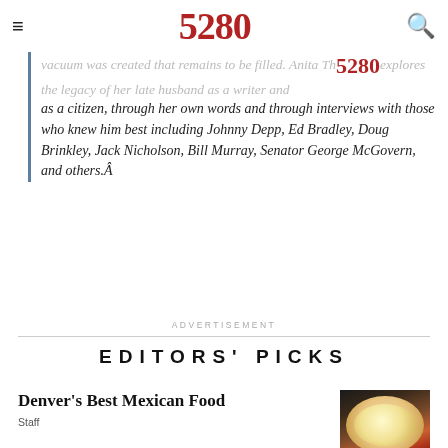5280
vacuum was created that remains to be filled. Anita Th...explores the legacy of her late husband as a writer and as a citizen, through her own words and through interviews with those who knew him best including Johnny Depp, Ed Bradley, Doug Brinkley, Jack Nicholson, Bill Murray, Senator George McGovern, and others.Â
ADVERTISEMENT
EDITORS' PICKS
Denver's Best Mexican Food
Staff